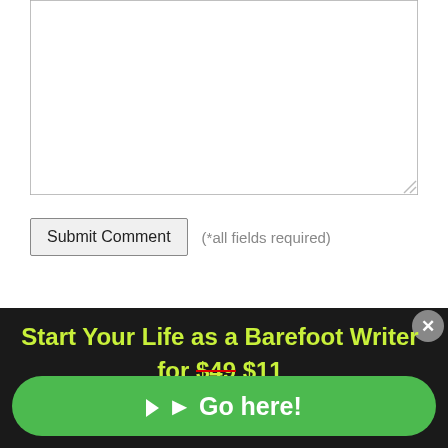[Figure (screenshot): A textarea form input box (empty, with resize handle in bottom-right corner)]
Submit Comment   (*all fields required)
How Can We Help?
Start Your Life as a Barefoot Writer for $49 $11
▶ Go here!